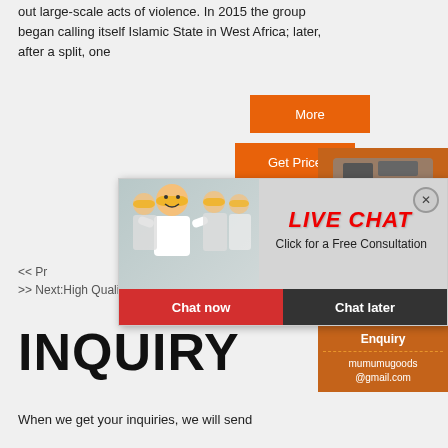out large-scale acts of violence. In 2015 the group began calling itself Islamic State in West Africa; later, after a split, one
[Figure (screenshot): Orange 'More' button]
[Figure (screenshot): Orange 'Get Price' button]
[Figure (screenshot): Live chat overlay popup with workers in hard hats, red LIVE CHAT text, 'Click for a Free Consultation', 'Chat now' and 'Chat later' buttons]
[Figure (screenshot): Right sidebar with machinery images on orange background, yellow 'Enjoy 3% discount' banner, 'Click to Chat' button, Enquiry box with mumumugoods@gmail.com]
<< Pr
>> Next:High Quality Jaw Stone Crusher Use
INQUIRY
When we get your inquiries, we will send